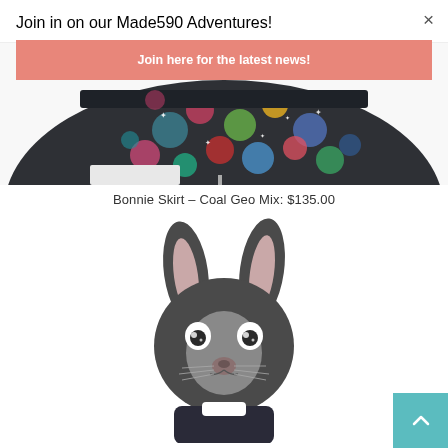[Figure (screenshot): Partial image of a dark patterned skirt (Bonnie Skirt - Coal Geo Mix) on a mannequin, showing colorful geometric/circle pattern on dark fabric, cropped at top of page]
Bonnie Skirt – Coal Geo Mix: $135.00
[Figure (illustration): Illustrated rabbit/bunny character with dark grey fur, pink inner ears, expressive eyes, and wearing a dark outfit with white collar. Cartoon illustration style.]
Join in on our Made590 Adventures!
Join here for the latest news!
×